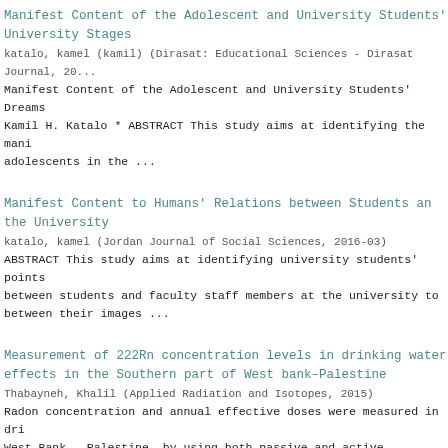Manifest Content of the Adolescent and University Students' Dreams at University Stages
katalo, kamel (kamil) (Dirasat: Educational Sciences - Dirasat Journal, 20...
Manifest Content of the Adolescent and University Students' Dreams Kamil H. Katalo * ABSTRACT This study aims at identifying the manifest content of adolescents in the ...
Manifest Content to Humans' Relations between Students and Faculty Staff at the University
katalo, kamel (Jordan Journal of Social Sciences, 2016-03)
ABSTRACT This study aims at identifying university students' points of view on relations between students and faculty staff members at the university to compare between their images ...
Measurement of 222Rn concentration levels in drinking water and health effects in the Southern part of West bank–Palestine
Thabayneh, Khalil (Applied Radiation and Isotopes, 2015)
Radon concentration and annual effective doses were measured in drinking water of West Bank – Palestine, by using both passive and active techniques from various sources ...